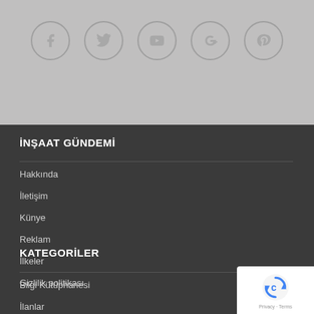[Figure (illustration): Social media icon circles for Facebook, Twitter, YouTube, Google+, and Pinterest on a light gray background]
İNŞAAT GÜNDEMİ
Hakkında
İletişim
Künye
Reklam
İlkeler
Gizlilik politikası
KATEGORİLER
Bilgi Kütüphanesi
İlanlar
Emlak İlanları
Etkinlikler